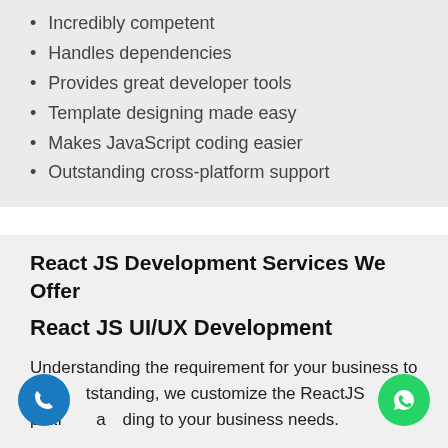Incredibly competent
Handles dependencies
Provides great developer tools
Template designing made easy
Makes JavaScript coding easier
Outstanding cross-platform support
React JS Development Services We Offer
React JS UI/UX Development
Understanding the requirement for your business to be outstanding, we customize the ReactJS platform according to your business needs.